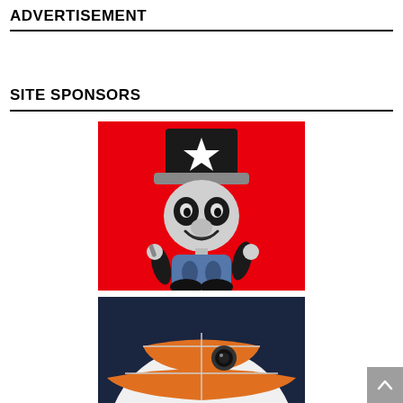ADVERTISEMENT
SITE SPONSORS
[Figure (photo): A stylized cartoon figurine of a retro Mickey Mouse-like character wearing a black top hat with a white star, gray brim, black and white face, blue shorts with oval buttons, and black shoes, set against a vivid red background.]
[Figure (photo): Partial view of a round object, appears to be a BB-8 droid or similar spherical toy/collectible with orange and white coloring, on a dark navy background.]